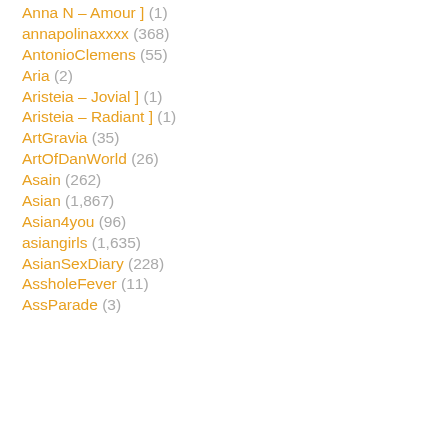Anna N – Amour ] (1)
annapolinaxxxx (368)
AntonioClemens (55)
Aria (2)
Aristeia – Jovial ] (1)
Aristeia – Radiant ] (1)
ArtGravia (35)
ArtOfDanWorld (26)
Asain (262)
Asian (1,867)
Asian4you (96)
asiangirls (1,635)
AsianSexDiary (228)
AssholeFever (11)
AssParade (3)